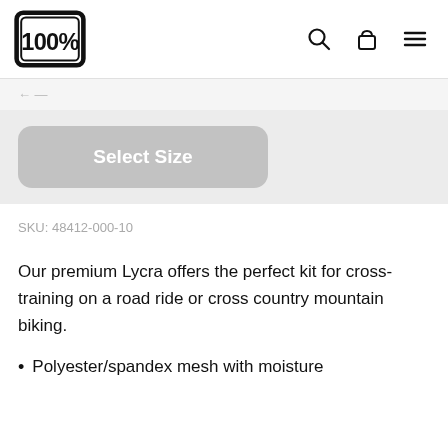100%
SKU: 48412-000-10
Our premium Lycra offers the perfect kit for cross-training on a road ride or cross country mountain biking.
Polyester/spandex mesh with moisture